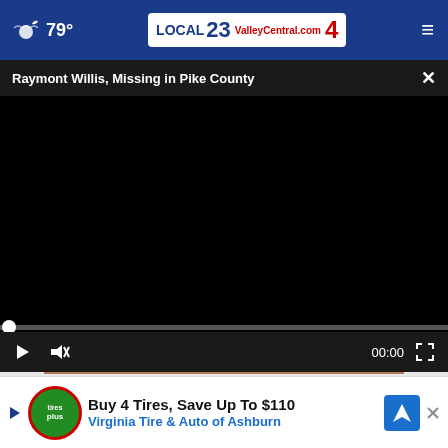79° ValleyCentral.com 23 4
Raymont Willis, Missing in Pike County
[Figure (screenshot): Black video player screen with progress bar at position 0, play button, mute button, time 00:00, and fullscreen button]
Always Put a Crayon in Your Wallet when Trav...
So goodly
[Figure (infographic): Advertisement: Buy 4 Tires, Save Up To $110 - Virginia Tire & Auto of Ashburn, with Tires Plus logo and navigation icon]